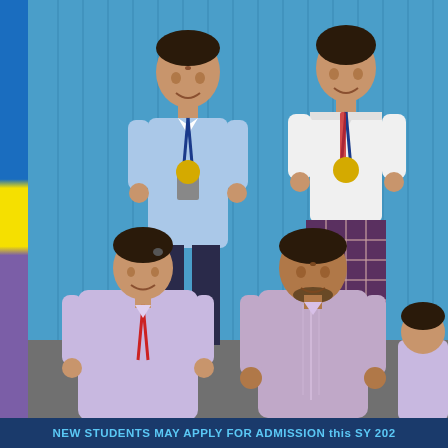[Figure (photo): Group photo of students with medals and teachers/adults in front of a blue corrugated wall. Two students standing in the back wear gold medals on blue lanyards — a boy in light blue school uniform on the left and a girl in white sailor-style uniform with plaid skirt on the right. In the front row are a woman in a light purple uniform with a red lanyard and a man in a lavender barong/dress shirt. A partially visible person is at the bottom right.]
NEW STUDENTS MAY APPLY FOR ADMISSION this SY 202...